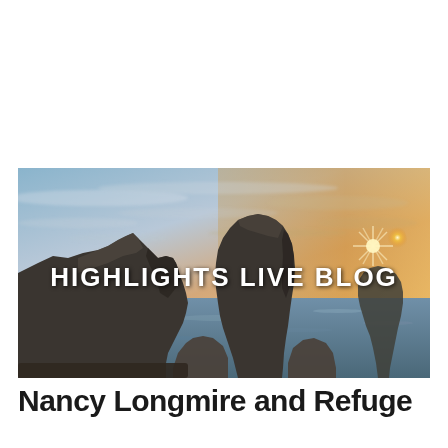[Figure (photo): Coastal seascape photo at sunset showing rocky formations in the ocean with a dramatic sky. Text overlay reads 'HIGHLIGHTS LIVE BLOG' in bold white letters centered on the image.]
Nancy Longmire and Refuge